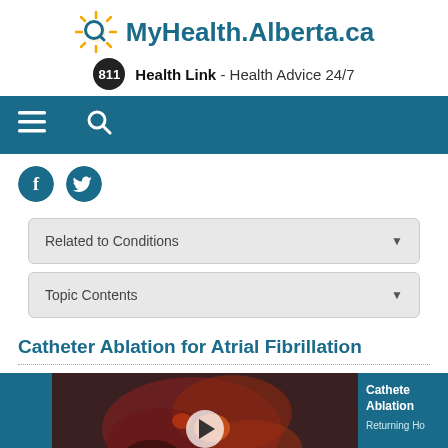[Figure (logo): MyHealth.Alberta.ca logo with sun/search icon]
811 Health Link - Health Advice 24/7
[Figure (screenshot): Navigation bar with hamburger menu and search icons]
[Figure (illustration): Facebook and Twitter social media icon circles]
Related to Conditions
Topic Contents
Catheter Ablation for Atrial Fibrillation
[Figure (photo): Video thumbnail showing heart anatomy illustration with play button. Side panel shows text: Catheter Ablation, Returning Ho...]